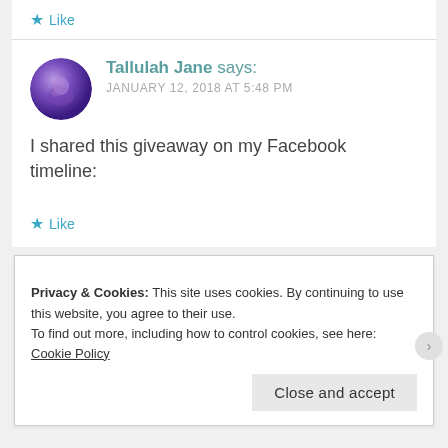★ Like
Tallulah Jane says: JANUARY 12, 2018 AT 5:48 PM
I shared this giveaway on my Facebook timeline:
★ Like
Privacy & Cookies: This site uses cookies. By continuing to use this website, you agree to their use.
To find out more, including how to control cookies, see here: Cookie Policy
Close and accept